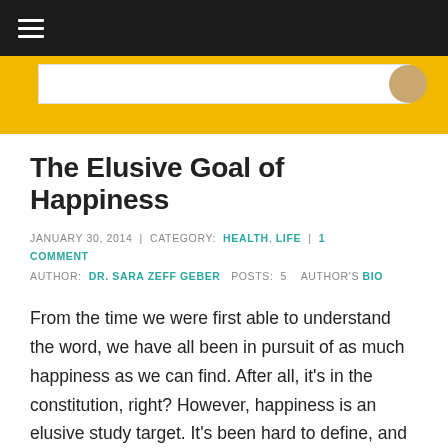[Figure (screenshot): Black navigation header bar with white hamburger menu icon (three horizontal lines) on the left, and a yellow banner below containing a white search/header box with a circular avatar on the right edge.]
The Elusive Goal of Happiness
JANUARY 30, 2014 | CATEGORY: HEALTH, LIFE | 1 COMMENT
AUTHOR: DR. SARA ZEFF GEBER  POSTS: 5  AUTHOR'S BIO
From the time we were first able to understand the word, we have all been in pursuit of as much happiness as we can find. After all, it's in the constitution, right? However, happiness is an elusive study target. It's been hard to define, and even harder to measure. But in recent years, social scientists have produced some